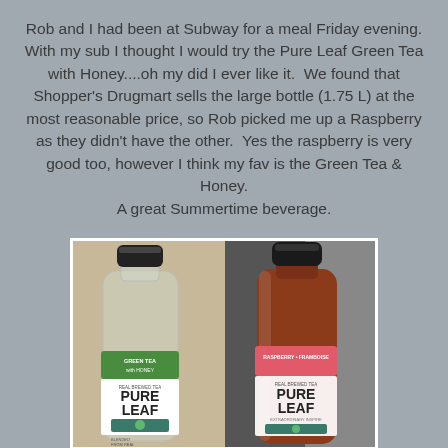Rob and I had been at Subway for a meal Friday evening. With my sub I thought I would try the Pure Leaf Green Tea with Honey....oh my did I ever like it. We found that Shopper's Drugmart sells the large bottle (1.75 L) at the most reasonable price, so Rob picked me up a Raspberry as they didn't have the other. Yes the raspberry is very good too, however I think my fav is the Green Tea & Honey. A great Summertime beverage.
[Figure (photo): Two Pure Leaf iced tea bottles side by side: left bottle is empty/clear with Green Tea with Honey label, right bottle is full with Raspberry flavour label.]